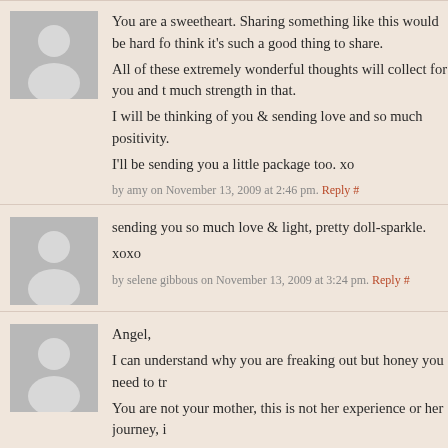You are a sweetheart. Sharing something like this would be hard for think it's such a good thing to share.
All of these extremely wonderful thoughts will collect for you and t much strength in that.
I will be thinking of you & sending love and so much positivity.
I'll be sending you a little package too. xo
by amy on November 13, 2009 at 2:46 pm. Reply #
sending you so much love & light, pretty doll-sparkle.
xoxo
by selene gibbous on November 13, 2009 at 3:24 pm. Reply #
Angel,
I can understand why you are freaking out but honey you need to try You are not your mother, this is not her experience or her journey, it It'll be a reference point in the process for the rest but this is...